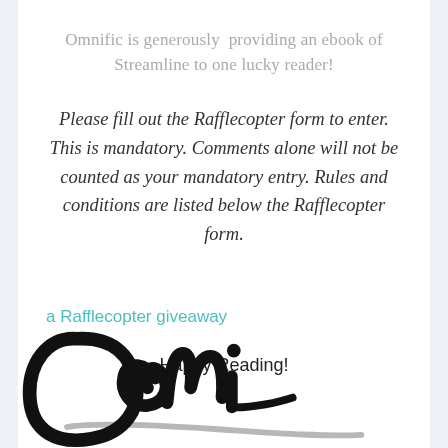Omnific is generously providing an ebook of Streamline to one lucky reader!
Please fill out the Rafflecopter form to enter. This is mandatory. Comments alone will not be counted as your mandatory entry. Rules and conditions are listed below the Rafflecopter form.
a Rafflecopter giveaway
Happy Reading!
[Figure (illustration): Partial handwritten cursive signature in black ink, showing letters that appear to spell 'Doni' or similar, cropped at bottom of page]